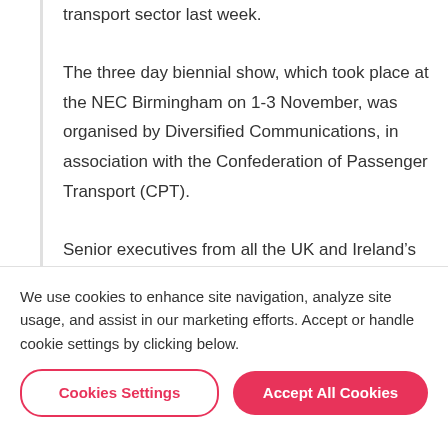transport sector last week.
The three day biennial show, which took place at the NEC Birmingham on 1-3 November, was organised by Diversified Communications, in association with the Confederation of Passenger Transport (CPT).
Senior executives from all the UK and Ireland’s major bus and coach operators packed the
We use cookies to enhance site navigation, analyze site usage, and assist in our marketing efforts. Accept or handle cookie settings by clicking below.
Cookies Settings
Accept All Cookies